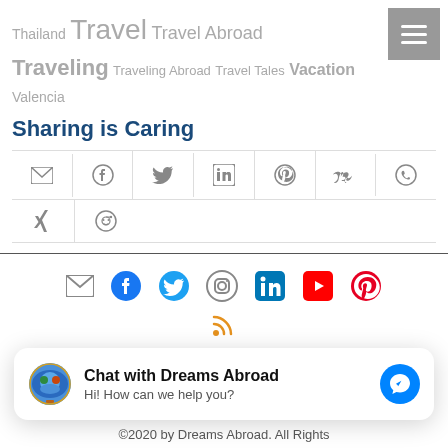Thailand Travel Travel Abroad Traveling Traveling Abroad Travel Tales Vacation Valencia
Sharing is Caring
[Figure (infographic): Social share icons row 1: email, facebook, twitter, linkedin, pinterest, VK, whatsapp]
[Figure (infographic): Social share icons row 2: xing, reddit]
[Figure (infographic): Footer social icons: email, facebook, twitter, instagram, linkedin, youtube, pinterest and RSS feed icon]
HOME | ABOUT | OUR TEAM | WE TRAVEL | WE TEACH | WE STUDY | QUESTIONS | ANSWERS |
Chat with Dreams Abroad
Hi! How can we help you?
©2020 by Dreams Abroad. All Rights